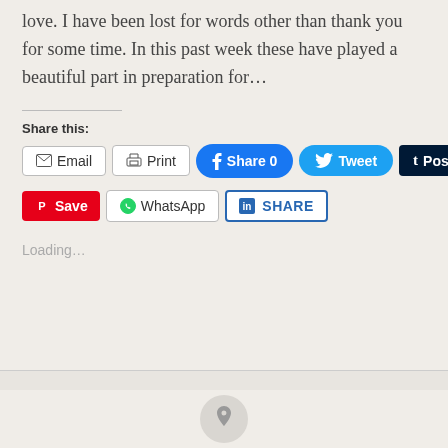love. I have been lost for words other than thank you for some time. In this past week these have played a beautiful part in preparation for…
Share this:
[Figure (screenshot): Social share buttons: Email, Print, Facebook Share 0, Twitter Tweet, Tumblr Post, Pinterest Save, WhatsApp, LinkedIn SHARE]
Loading…